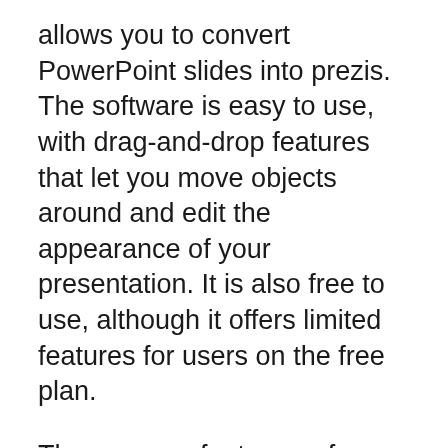allows you to convert PowerPoint slides into prezis. The software is easy to use, with drag-and-drop features that let you move objects around and edit the appearance of your presentation. It is also free to use, although it offers limited features for users on the free plan.
The program features a free form feature, allowing you to write down your ideas and arrange them however you like. You can zoom in on individual ideas to insert images from your hard disk. The program offers 'frames' to organize your ideas. You can even add a title, description, and subtitles, allowing you to make a nifty presentation in no time. You can also import slide decks or other documents to your presentation.